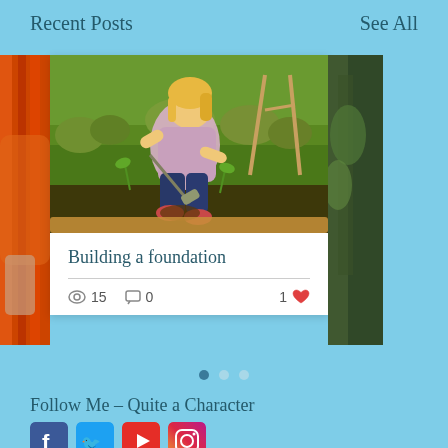Recent Posts
See All
[Figure (photo): Child kneeling outdoors in grass, digging or planting with a small tool in a garden bed]
Building a foundation
15 views · 0 comments · 1 like
Follow Me – Quite a Character